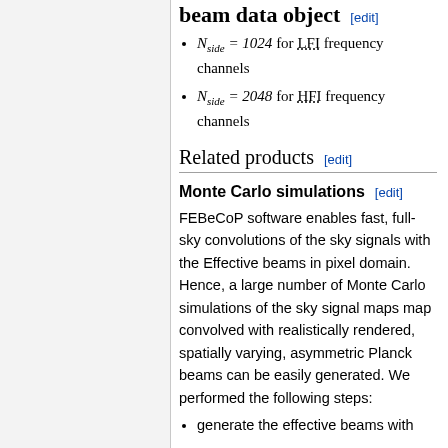beam data object [edit]
N_side = 1024 for LFI frequency channels
N_side = 2048 for HFI frequency channels
Related products [edit]
Monte Carlo simulations [edit]
FEBeCoP software enables fast, full-sky convolutions of the sky signals with the Effective beams in pixel domain. Hence, a large number of Monte Carlo simulations of the sky signal maps map convolved with realistically rendered, spatially varying, asymmetric Planck beams can be easily generated. We performed the following steps:
generate the effective beams with